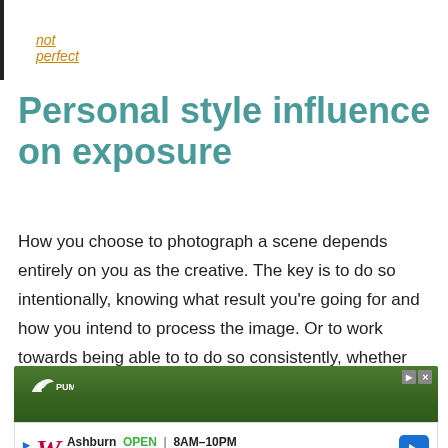not perfect
Personal style influence on exposure
How you choose to photograph a scene depends entirely on you as the creative. The key is to do so intentionally, knowing what result you’re going for and how you intend to process the image. Or to work towards being able to to do so consistently, whether you choose:
[Figure (photo): Advertisement banner showing a grass field with white line markings and sports shoes, with Puma logo visible. Below it is a Walgreens local store ad showing the W logo, Ashburn location, open hours 8AM-10PM, and address 20321 Susan Leslie Dr, Ashburn.]